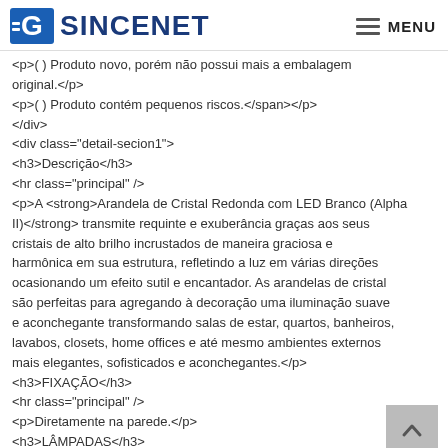SINCENET   MENU
<p>( ) Produto novo, porém não possui mais a embalagem original.</p>
<p>( ) Produto contém pequenos riscos.</span></p>
</div>
<div class="detail-secion1">
<h3>Descrição</h3>
<hr class="principal" />
<p>A <strong>Arandela de Cristal Redonda com LED Branco (Alpha II)</strong> transmite requinte e exuberância graças aos seus cristais de alto brilho incrustados de maneira graciosa e harmônica em sua estrutura, refletindo a luz em várias direções ocasionando um efeito sutil e encantador. As arandelas de cristal são perfeitas para agregando à decoração uma iluminação suave e aconchegante transformando salas de estar, quartos, banheiros, lavabos, closets, home offices e até mesmo ambientes externos mais elegantes, sofisticados e aconchegantes.</p>
<h3>FIXAÇÃO</h3>
<hr class="principal" />
<p>Diretamente na parede.</p>
<h3>LÂMPADAS</h3>